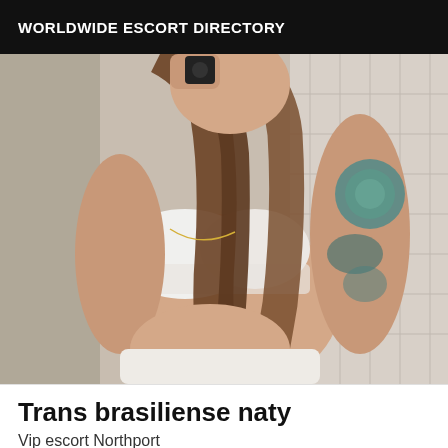WORLDWIDE ESCORT DIRECTORY
[Figure (photo): Mirror selfie of a woman with long brown hair wearing a white lace bra top, showing tattoos on her arm including a large rose tattoo, taken in a bathroom with white tile walls.]
Trans brasiliense naty
Vip escort Northport